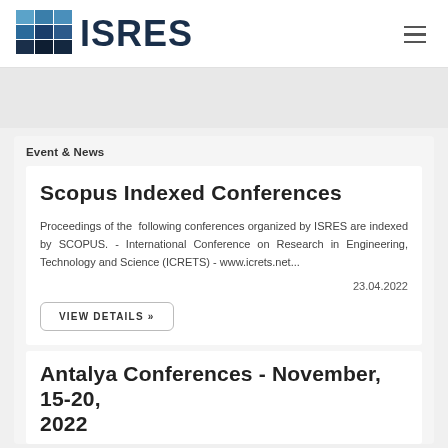ISRES
Event & News
Scopus Indexed Conferences
Proceedings of the following conferences organized by ISRES are indexed by SCOPUS. - International Conference on Research in Engineering, Technology and Science (ICRETS) - www.icrets.net...
23.04.2022
VIEW DETAILS »
Antalya Conferences - November, 15-20, 2022